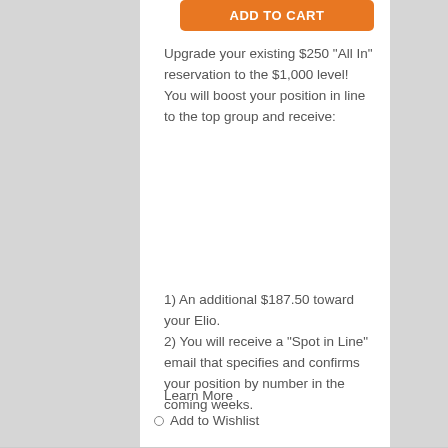Upgrade your existing $250 "All In" reservation to the $1,000 level! You will boost your position in line to the top group and receive:
1) An additional $187.50 toward your Elio.
2) You will receive a "Spot in Line" email that specifies and confirms your position by number in the coming weeks.
Learn More
Add to Wishlist